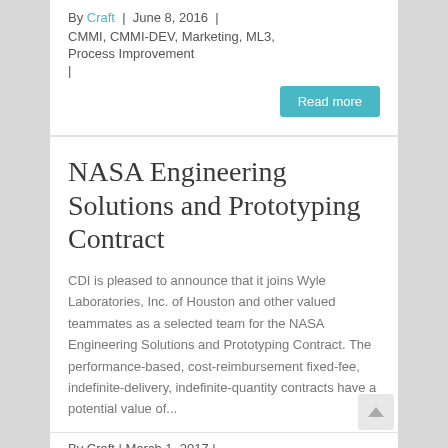By Craft | June 8, 2016 | CMMI, CMMI-DEV, Marketing, ML3, Process Improvement |
Read more
NASA Engineering Solutions and Prototyping Contract
CDI is pleased to announce that it joins Wyle Laboratories, Inc. of Houston and other valued teammates as a selected team for the NASA Engineering Solutions and Prototyping Contract. The performance-based, cost-reimbursement fixed-fee, indefinite-delivery, indefinite-quantity contracts have a potential value of...
By Craft | March 1, 2017 |